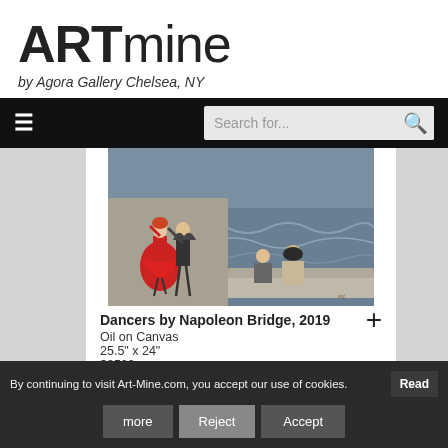ARTmine
by Agora Gallery Chelsea, NY
[Figure (screenshot): Navigation bar with hamburger menu icon and search box reading 'Search for...' with a magnifying glass button, on a black background]
[Figure (photo): A painting showing dancers by Napoleon Bridge - a woman in a red dress dancing with a man in dark clothing, and two other figures sitting on a ledge by rough water]
Dancers by Napoleon Bridge, 2019
Oil on Canvas
25.5" x 24"
$8500
By continuing to visit Art-Mine.com, you accept our use of cookies.   Read more   Reject   Accept